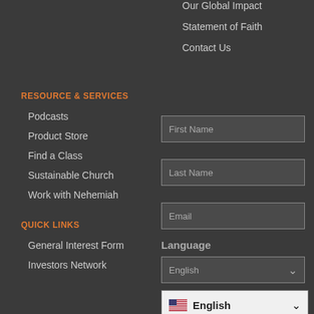Our Global Impact
Statement of Faith
Contact Us
RESOURCE & SERVICES
Podcasts
Product Store
Find a Class
Sustainable Church
Work with Nehemiah
QUICK LINKS
General Interest Form
Investors Network
First Name
Last Name
Email
Language
English
English